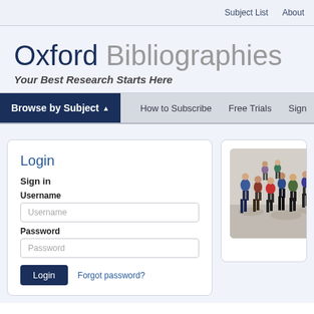Subject List   About
Oxford Bibliographies
Your Best Research Starts Here
Browse by Subject   How to Subscribe   Free Trials   Sign
Login
Sign in
Username
Password
Login   Forgot password?
[Figure (photo): Aerial view of crowd of people walking]
African
Alford A. Y...
LAST REVIE...
LAST MODIF...
DOI: 10.1093...